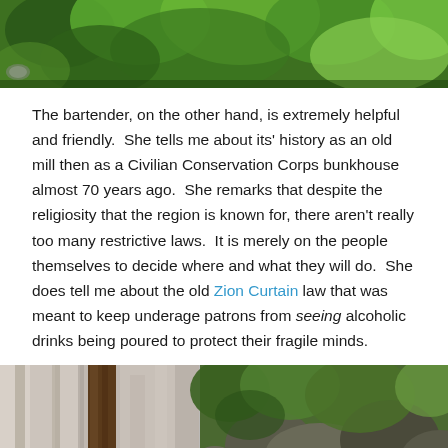[Figure (photo): Top photo showing green foliage and leaves, partially cropped at top of page]
The bartender, on the other hand, is extremely helpful and friendly.  She tells me about its' history as an old mill then as a Civilian Conservation Corps bunkhouse almost 70 years ago.  She remarks that despite the religiosity that the region is known for, there aren't really too many restrictive laws.  It is merely on the people themselves to decide where and what they will do.  She does tell me about the old Zion Curtain law that was meant to keep underage patrons from seeing alcoholic drinks being poured to protect their fragile minds.
[Figure (photo): Bottom photo split into two: left side shows curtain fabric and tree trunk, right side shows rocky wooded area]